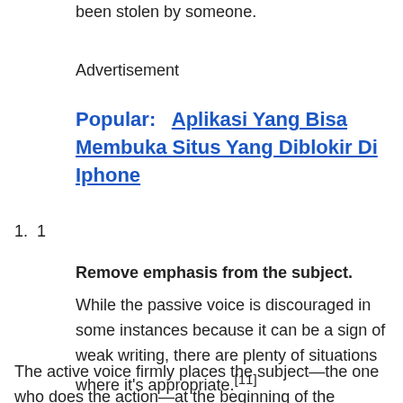been stolen by someone.
Advertisement
Popular:   Aplikasi Yang Bisa Membuka Situs Yang Diblokir Di Iphone
1
Remove emphasis from the subject.
While the passive voice is discouraged in some instances because it can be a sign of weak writing, there are plenty of situations where it's appropriate.[11]
The active voice firmly places the subject—the one who does the action—at the beginning of the clause, passive